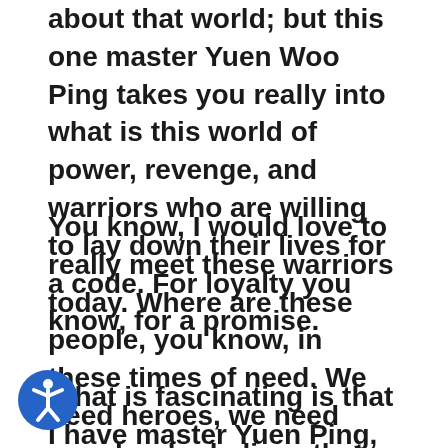about that world; but this one master Yuen Woo Ping takes you really into what is this world of power, revenge, and warriors who are willing to lay down their lives for a code. For loyalty you know, for a promise.
You know, I would love to really meet these warriors today. Where are these people, you know, in these times of need. We need heroes, we need people who believe that the right thing is to stand up and even if it costs you, you know...the ultimate price.
What is fascinating is that I have master Yuen Ping, a big mentor to me, who I believe is
[Figure (illustration): Blue circular accessibility icon showing a stylized person with arms and legs extended, white figure on blue background]